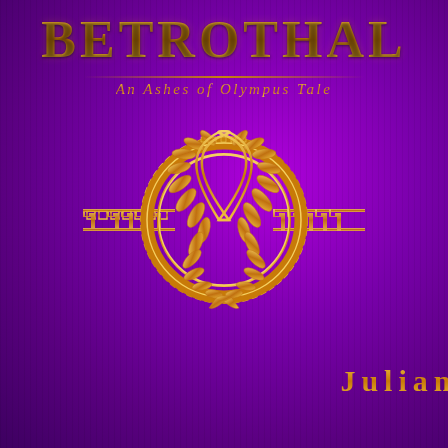BETROTHAL
An Ashes of Olympus Tale
[Figure (illustration): Greek-style golden laurel wreath inside a circular meander/Greek key border, flanked on both sides by horizontal Greek key decorative band elements, all in gold on a rich purple background.]
Julian Barr